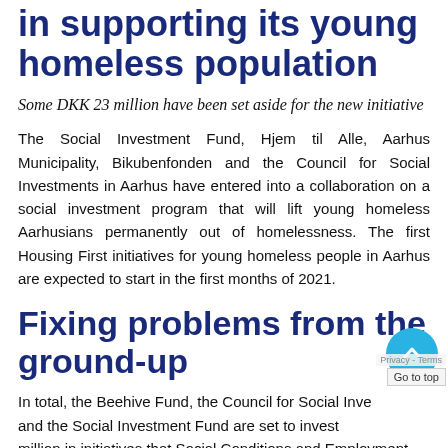in supporting its young homeless population
Some DKK 23 million have been set aside for the new initiative
The Social Investment Fund, Hjem til Alle, Aarhus Municipality, Bikubenfonden and the Council for Social Investments in Aarhus have entered into a collaboration on a social investment program that will lift young homeless Aarhusians permanently out of homelessness. The first Housing First initiatives for young homeless people in Aarhus are expected to start in the first months of 2021.
Fixing problems from the ground-up
In total, the Beehive Fund, the Council for Social Inve... and the Social Investment Fund are set to invest ... million in initiatives that Social Conditions and Employment...